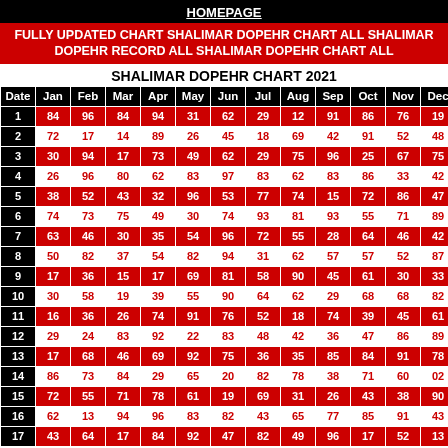HOMEPAGE
FULLY UPDATED CHART SHALIMAR DOPEHR CHART ALL SHALIMAR DOPEHR RECORD ALL SHALIMAR DOPEHR CHART ALL
SHALIMAR DOPEHR CHART 2021
| Date | Jan | Feb | Mar | Apr | May | Jun | Jul | Aug | Sep | Oct | Nov | Dec |
| --- | --- | --- | --- | --- | --- | --- | --- | --- | --- | --- | --- | --- |
| 1 | 84 | 96 | 84 | 94 | 31 | 62 | 29 | 12 | 91 | 86 | 76 | 19 |
| 2 | 72 | 17 | 14 | 89 | 26 | 45 | 18 | 69 | 42 | 91 | 52 | 48 |
| 3 | 30 | 94 | 17 | 73 | 49 | 62 | 29 | 75 | 96 | 25 | 67 | 75 |
| 4 | 26 | 96 | 80 | 62 | 83 | 97 | 83 | 62 | 83 | 86 | 33 | 42 |
| 5 | 38 | 52 | 43 | 32 | 96 | 53 | 77 | 74 | 15 | 72 | 86 | 47 |
| 6 | 74 | 73 | 75 | 49 | 30 | 74 | 93 | 81 | 93 | 55 | 71 | 89 |
| 7 | 63 | 46 | 30 | 35 | 54 | 96 | 72 | 55 | 28 | 64 | 46 | 42 |
| 8 | 50 | 82 | 37 | 54 | 82 | 94 | 31 | 62 | 57 | 57 | 52 | 87 |
| 9 | 17 | 36 | 15 | 17 | 69 | 81 | 58 | 90 | 45 | 61 | 30 | 33 |
| 10 | 30 | 58 | 19 | 39 | 55 | 90 | 64 | 62 | 29 | 68 | 68 | 82 |
| 11 | 16 | 36 | 26 | 74 | 91 | 76 | 52 | 18 | 74 | 39 | 45 | 61 |
| 12 | 29 | 24 | 83 | 92 | 22 | 83 | 48 | 42 | 36 | 47 | 86 | 89 |
| 13 | 17 | 68 | 46 | 69 | 92 | 75 | 36 | 35 | 85 | 84 | 91 | 78 |
| 14 | 86 | 73 | 84 | 29 | 65 | 20 | 82 | 78 | 38 | 71 | 60 | 02 |
| 15 | 72 | 55 | 71 | 78 | 61 | 19 | 69 | 31 | 26 | 43 | 38 | 90 |
| 16 | 62 | 13 | 94 | 96 | 83 | 82 | 43 | 65 | 77 | 85 | 91 | 43 |
| 17 | 43 | 64 | 17 | 84 | 92 | 47 | 82 | 49 | 96 | 17 | 52 | 13 |